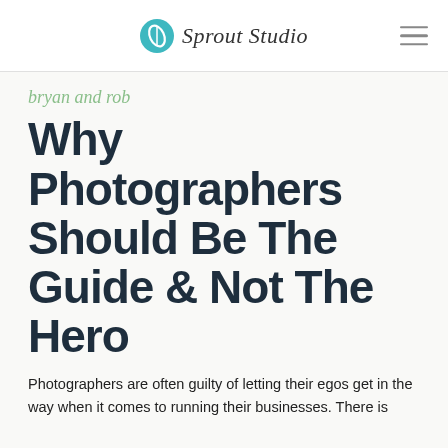Sprout Studio
bryan and rob
Why Photographers Should Be The Guide & Not The Hero
Photographers are often guilty of letting their egos get in the way when it comes to running their businesses. There is